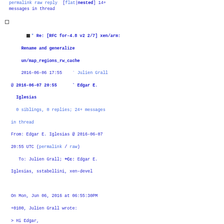permalink raw reply  [flat|nested] 24+ messages in thread
* Re: [RFC for-4.8 v2 2/7] xen/arm: Rename and generalize un/map_regions_rw_cache
    2016-06-06 17:55   ` Julien Grall
@ 2016-06-07 20:55      ` Edgar E. Iglesias
  0 siblings, 0 replies; 24+ messages in thread
From: Edgar E. Iglesias @ 2016-06-07 20:55 UTC (permalink / raw)
   To: Julien Grall; +Cc: Edgar E. Iglesias, sstabellini, xen-devel

On Mon, Jun 06, 2016 at 06:55:30PM +0100, Julien Grall wrote:
> Hi Edgar,
>
> On 03/06/16 14:29, Edgar E. Iglesias wrote:
> >From: "Edgar E. Iglesias" <edgar.iglesias@xilinx.com>
> >
> >Rename and generalize un/map_regions_rw_cache into
> >un/map_regions.
>